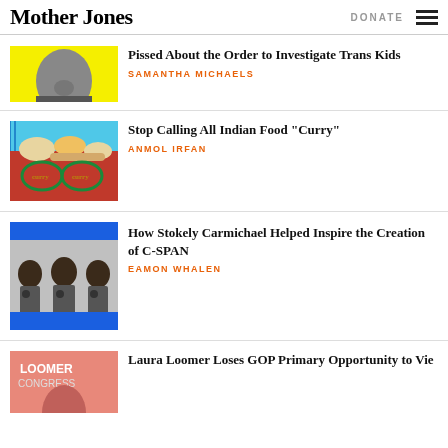Mother Jones | DONATE
Pissed About the Order to Investigate Trans Kids
SAMANTHA MICHAELS
Stop Calling All Indian Food “Curry”
ANMOL IRFAN
How Stokely Carmichael Helped Inspire the Creation of C-SPAN
EAMON WHALEN
Laura Loomer Loses GOP Primary Opportunity to Vie